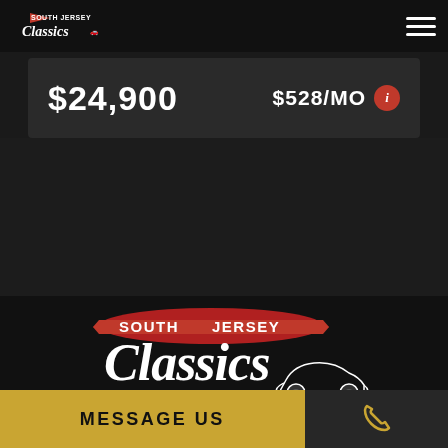South Jersey Classics logo and navigation
$24,900
$528/MO
[Figure (logo): South Jersey Classics logo with classic car, Buy Sell Trade tagline]
MESSAGE US